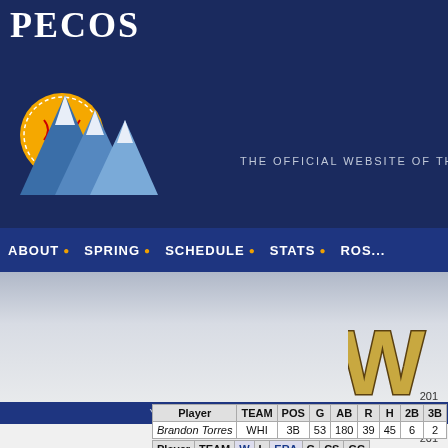[Figure (logo): Pecos League logo with mountain and baseball graphic, 'PECOS' text in white letters]
THE OFFICIAL WEBSITE OF THE PECOS LEAGUE
ABOUT • SPRING • SCHEDULE • STATS • ROS...
Your Ad here Advertise with us
[Figure (logo): Partial gold W letter logo]
201
| Player | TEAM | POS | G | AB | R | H | 2B | 3B |
| --- | --- | --- | --- | --- | --- | --- | --- | --- |
| Brandon Torres | WHI | 3B | 53 | 180 | 39 | 45 | 6 | 2 |
201
| Player | TEAM | W | L | ERA | G | CS | GC |
| --- | --- | --- | --- | --- | --- | --- | --- |